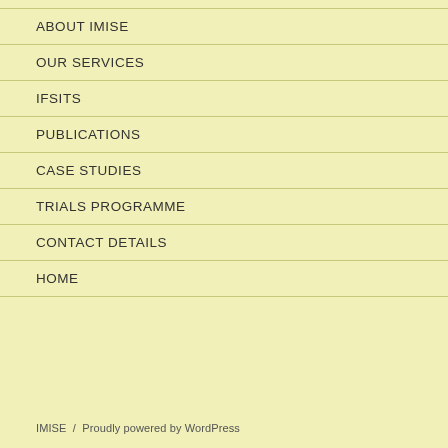ABOUT IMISE
OUR SERVICES
IFSITS
PUBLICATIONS
CASE STUDIES
TRIALS PROGRAMME
CONTACT DETAILS
HOME
IMISE  /  Proudly powered by WordPress